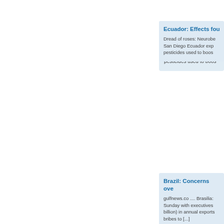Ecuador: Effects fou... Dread of roses: Neurobe... San Diego Ecuador exp... pesticides used to boos...
Brazil: Concerns ove... gulfnews.co .... Brasilia:... Sunday with executives... billion) in annual exports... bribes to [...]
Amazon Forest unde... theguardian.com reporte... on a few hectares of low... judge that he had to mo...
Alpacas Being Used... (Thomson Reuters Fou...